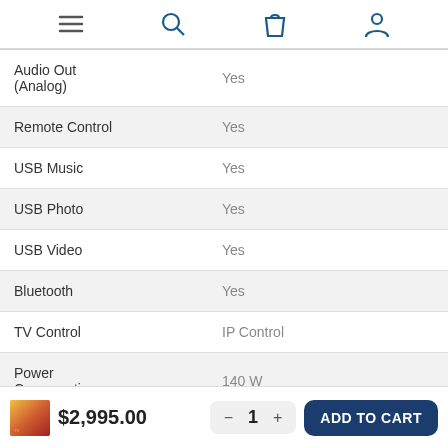Navigation bar with menu, search, cart, and account icons
| Feature | Value |
| --- | --- |
| Audio Out (Analog) | Yes |
| Remote Control | Yes |
| USB Music | Yes |
| USB Photo | Yes |
| USB Video | Yes |
| Bluetooth | Yes |
| TV Control | IP Control |
| Power Consumption | 140 W |
$2,995.00
1
ADD TO CART